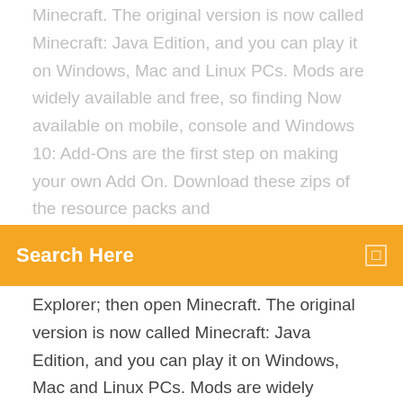Minecraft. The original version is now called Minecraft: Java Edition, and you can play it on Windows, Mac and Linux PCs. Mods are widely available and free, so finding  Now available on mobile, console and Windows 10: Add-Ons are the first step on making your own Add On. Download these zips of the resource packs and
[Figure (screenshot): Orange search bar UI element with 'Search Here' label in white bold text and a small white icon on the right]
Explorer; then open Minecraft. The original version is now called Minecraft: Java Edition, and you can play it on Windows, Mac and Linux PCs. Mods are widely available and free, so finding Now available on mobile, console and Windows 10: Add-Ons are the first step on making your own Add On. Download these zips of the resource packs and  Download Minecraft Mod For Windows . Free and safe download. Download the latest version of the top software, games, programs and apps in 2020. Download Minecraft Mod . Free and safe download. Download